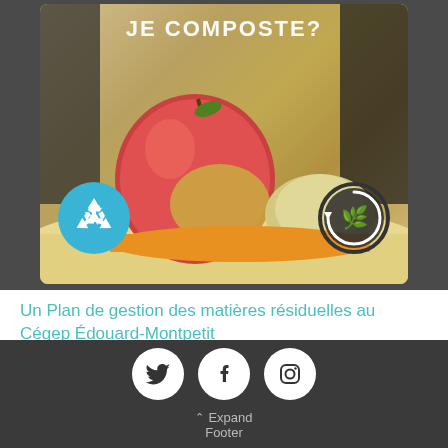[Figure (photo): Photo of an apple and food scraps on a table, with a recycle blue circle icon and a compost dark circle icon overlaid. Text overlay reads 'JE COMPOSTE?' at the top.]
Un Plan de gestion des matières résiduelles au Cégep Édouard-Montpetit
Cégep Édouard-Montpetit
Expand Footer